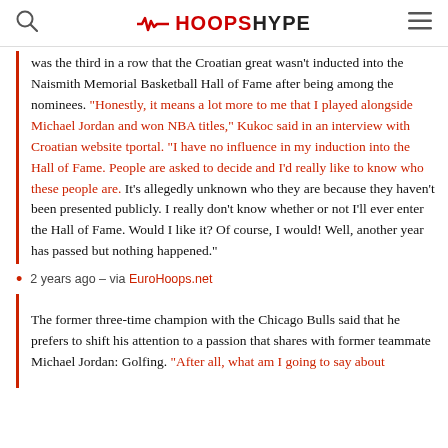HOOPSHYPE
was the third in a row that the Croatian great wasn't inducted into the Naismith Memorial Basketball Hall of Fame after being among the nominees. “Honestly, it means a lot more to me that I played alongside Michael Jordan and won NBA titles,” Kukoc said in an interview with Croatian website tportal. “I have no influence in my induction into the Hall of Fame. People are asked to decide and I’d really like to know who these people are. It’s allegedly unknown who they are because they haven’t been presented publicly. I really don’t know whether or not I’ll ever enter the Hall of Fame. Would I like it? Of course, I would! Well, another year has passed but nothing happened.”
2 years ago – via EuroHoops.net
The former three-time champion with the Chicago Bulls said that he prefers to shift his attention to a passion that shares with former teammate Michael Jordan: Golfing. “After all, what am I going to say about